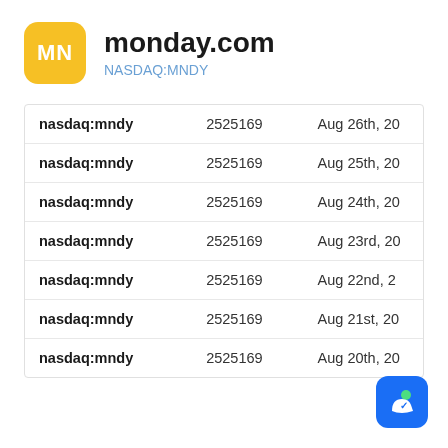[Figure (logo): monday.com logo: yellow rounded square with white MN text]
monday.com
NASDAQ:MNDY
| nasdaq:mndy | 2525169 | Aug 26th, 20 |
| nasdaq:mndy | 2525169 | Aug 25th, 20 |
| nasdaq:mndy | 2525169 | Aug 24th, 20 |
| nasdaq:mndy | 2525169 | Aug 23rd, 20 |
| nasdaq:mndy | 2525169 | Aug 22nd, 2 |
| nasdaq:mndy | 2525169 | Aug 21st, 20 |
| nasdaq:mndy | 2525169 | Aug 20th, 20 |